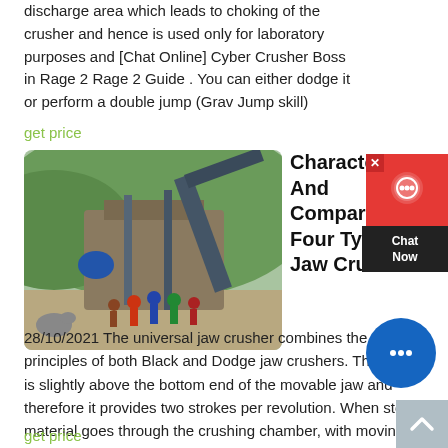discharge area which leads to choking of the crusher and hence is used only for laboratory purposes and [Chat Online] Cyber Crusher Boss in Rage 2 Rage 2 Guide . You can either dodge it or perform a double jump (Grav Jump skill)
get price
[Figure (photo): Outdoor industrial jaw crusher machine with workers/people standing nearby, set against a green hillside background.]
Characteristics And Comparison Of Four Types Of Jaw Crushers
28/10/2021 The universal jaw crusher combines the principles of both Black and Dodge jaw crushers. The pivot is slightly above the bottom end of the movable jaw and therefore it provides two strokes per revolution. When stone material goes through the crushing chamber, with moving jaw compressing towards down and inside, it will generate aggressive force feed action to
get price